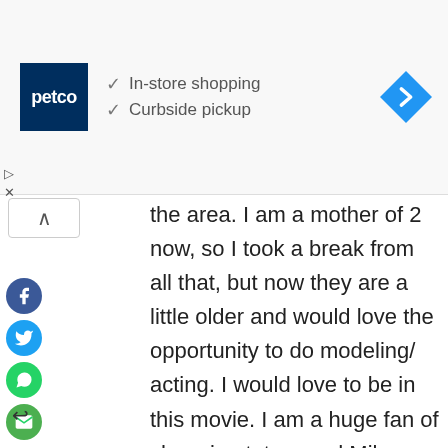[Figure (screenshot): Petco advertisement banner with logo, 'In-store shopping' and 'Curbside pickup' text with checkmarks, and a blue navigation arrow icon on the right]
the area. I am a mother of 2 now, so I took a break from all that, but now they are a little older and would love the opportunity to do modeling/ acting. I would love to be in this movie. I am a huge fan of channing tatum and Mila kunis . This would be a dream come true. I am flexible and have help with my children. Please consider me . I am very friendly I get along with everyone well . Love life, looking for opportunity to enjoy it